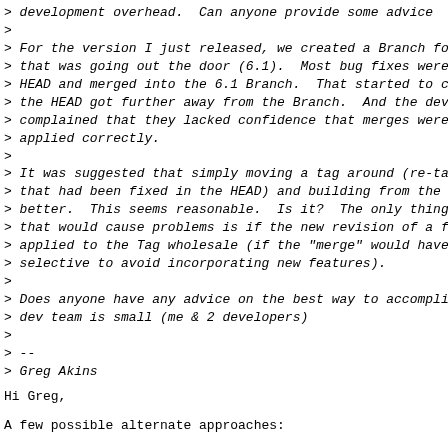> development overhead.  Can anyone provide some advice
>
> For the version I just released, we created a Branch fo
> that was going out the door (6.1).  Most bug fixes were
> HEAD and merged into the 6.1 Branch.  That started to c
> the HEAD got further away from the Branch.  And the dev
> complained that they lacked confidence that merges were
> applied correctly.
>
> It was suggested that simply moving a tag around (re-ta
> that had been fixed in the HEAD) and building from the
> better.  This seems reasonable.  Is it?  The only thing
> that would cause problems is if the new revision of a f
> applied to the Tag wholesale (if the "merge" would have
> selective to avoid incorporating new features).
>
> Does anyone have any advice on the best way to accompli
> dev team is small (me & 2 developers)
>
> --
> Greg Akins
Hi Greg,
A few possible alternate approaches:
After creating the branch that will become the release (could apply fixes to the branch first, and then to the t(separately). It's double the work for applying a fix, buthe merge concerns; you'll never merge something unintendallows for similar but unique fixes on the two branches w